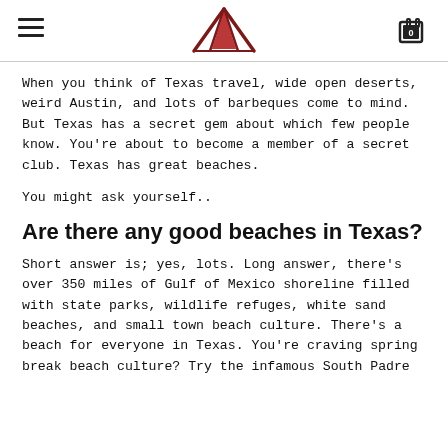[hamburger menu] [logo] [cart: 0]
When you think of Texas travel, wide open deserts, weird Austin, and lots of barbeques come to mind. But Texas has a secret gem about which few people know. You're about to become a member of a secret club. Texas has great beaches.
You might ask yourself..
Are there any good beaches in Texas?
Short answer is; yes, lots. Long answer, there's over 350 miles of Gulf of Mexico shoreline filled with state parks, wildlife refuges, white sand beaches, and small town beach culture. There's a beach for everyone in Texas. You're craving spring break beach culture? Try the infamous South Padre Island. Are you more of a laid-back, slow down and...